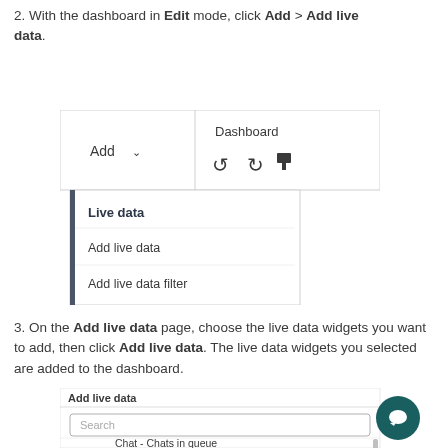2. With the dashboard in Edit mode, click Add > Add live data.
[Figure (screenshot): Screenshot showing dashboard toolbar with Add dropdown and a dropdown menu showing 'Live data' section with 'Add live data' and 'Add live data filter' options.]
3. On the Add live data page, choose the live data widgets you want to add, then click Add live data. The live data widgets you selected are added to the dashboard.
[Figure (screenshot): Screenshot showing the 'Add live data' page with a Search field and 'Chat - Chats in queue' item visible.]